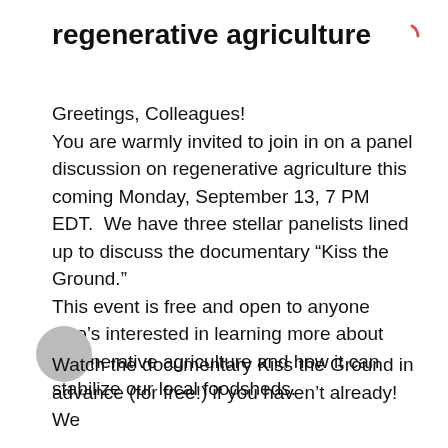regenerative agriculture
Greetings, Colleagues!
You are warmly invited to join in on a panel discussion on regenerative agriculture this coming Monday, September 13, 7 PM EDT.  We have three stellar panelists lined up to discuss the documentary “Kiss the Ground.”
This event is free and open to anyone who’s interested in learning more about regenerative agriculture and how it can stabilize our local foodsheds.
Watch the documentary Kiss the Ground in advance (for free!) if you haven’t already! We